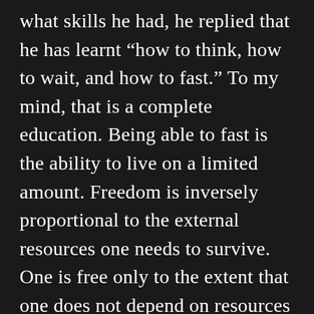what skills he had, he replied that he has learnt “how to think, how to wait, and how to fast.” To my mind, that is a complete education. Being able to fast is the ability to live on a limited amount. Freedom is inversely proportional to the external resources one needs to survive. One is free only to the extent that one does not depend on resources external to oneself. (See <a href=“http://When Kamala, the courtesan in Hermann Hesse’s novel Siddhartha asked the young brahmin ascetic what skills he had, he replied that he has learnt “how to think, how to wait, and how to fast.” To my mind, that is a complete education. Being able to fast is the ability to live on a limited